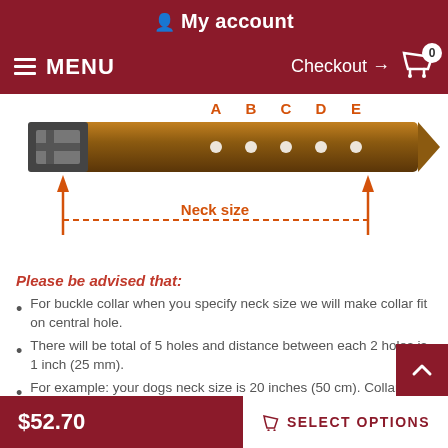My account
MENU  Checkout → 0
[Figure (illustration): Diagram of a dog collar showing 5 holes labeled A, B, C, D, E with orange arrows and a dotted line indicating 'Neck size' measurement span]
Please be advised that:
For buckle collar when you specify neck size we will make collar fit on central hole.
There will be total of 5 holes and distance between each 2 holes is 1 inch (25 mm).
For example: your dogs neck size is 20 inches (50 cm). Collar will fit on central hole at 20 inches (50 cm).
There will be 2 smaller size holes - 18 inch (45 cm) and 19 inch (47.5 cm).
$52.70  SELECT OPTIONS